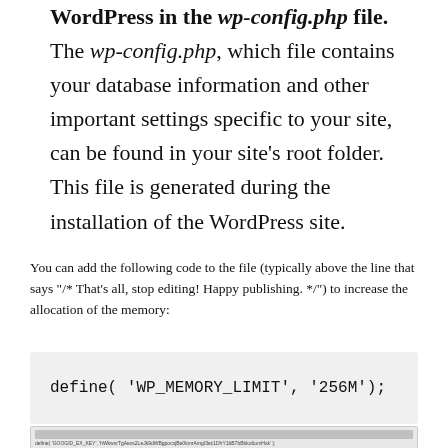You can increase the memory allocated to WordPress in the wp-config.php file. The wp-config.php, which file contains your database information and other important settings specific to your site, can be found in your site's root folder. This file is generated during the installation of the WordPress site.
You can add the following code to the file (typically above the line that says "/* That's all, stop editing! Happy publishing. */") to increase the allocation of the memory:
[Figure (screenshot): Code block showing: define( 'WP_MEMORY_LIMIT', '256M');]
[Figure (screenshot): Screenshot of wp-config.php file open in a text editor showing code lines]